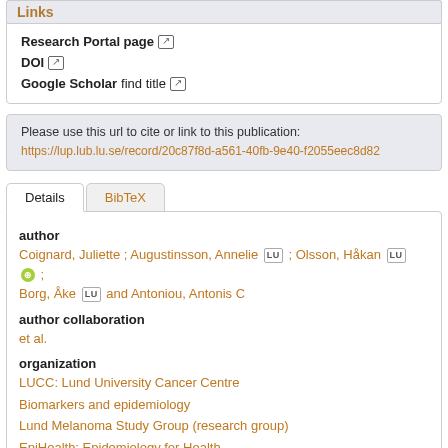Links
Research Portal page [external link]
DOI [external link]
Google Scholar find title [external link]
Please use this url to cite or link to this publication:
https://lup.lub.lu.se/record/20c87f8d-a561-40fb-9e40-f2055eec8d82
Details | BibTeX
author
Coignard, Juliette ; Augustinsson, Annelie LU ; Olsson, Håkan LU ; Borg, Åke LU and Antoniou, Antonis C
author collaboration
et al.
organization
LUCC: Lund University Cancer Centre
Biomarkers and epidemiology
Lund Melanoma Study Group (research group)
EpiHealth: Epidemiology for Health
Familial Breast Cancer (research group)
Breastcancer-genetics